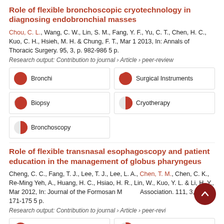Role of flexible bronchoscopic cryotechnology in diagnosing endobronchial masses
Chou, C. L., Wang, C. W., Lin, S. M., Fang, Y. F., Yu, C. T., Chen, H. C., Kuo, C. H., Hsieh, M. H. & Chung, F. T., Mar 1 2013, In: Annals of Thoracic Surgery. 95, 3, p. 982-986 5 p.
Research output: Contribution to journal › Article › peer-review
[Figure (infographic): Five keyword badges: Bronchi (100%), Surgical Instruments (~65%), Biopsy (~28%), Cryotherapy (~12%), Bronchoscopy (~12%)]
Role of flexible transnasal esophagoscopy and patient education in the management of globus pharyngeus
Cheng, C. C., Fang, T. J., Lee, T. J., Lee, L. A., Chen, T. M., Chen, C. K., Re-Ming Yeh, A., Huang, H. C., Hsiao, H. R., Lin, W., Kuo, Y. L. & Li, H. Y., Mar 2012, In: Journal of the Formosan Medical Association. 111, 3, p. 171-175 5 p.
Research output: Contribution to journal › Article › peer-review
[Figure (infographic): Keyword badges partially visible at bottom]